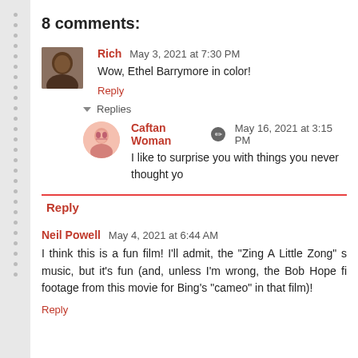8 comments:
Rich  May 3, 2021 at 7:30 PM
Wow, Ethel Barrymore in color!
Reply
▾ Replies
Caftan Woman  May 16, 2021 at 3:15 PM
I like to surprise you with things you never thought yo
Reply
Neil Powell  May 4, 2021 at 6:44 AM
I think this is a fun film! I'll admit, the "Zing A Little Zong" s music, but it's fun (and, unless I'm wrong, the Bob Hope fi footage from this movie for Bing's "cameo" in that film)!
Reply